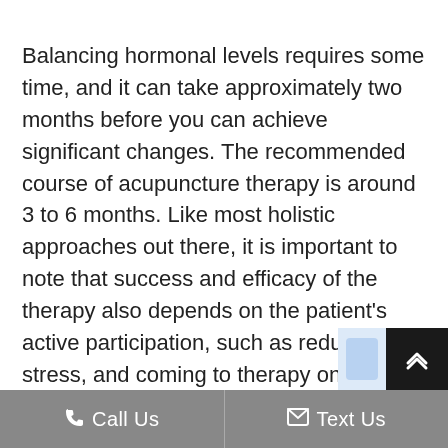Balancing hormonal levels requires some time, and it can take approximately two months before you can achieve significant changes. The recommended course of acupuncture therapy is around 3 to 6 months. Like most holistic approaches out there, it is important to note that success and efficacy of the therapy also depends on the patient's active participation, such as reducing stress, and coming to therapy on a regular basis.
Call Us   Text Us